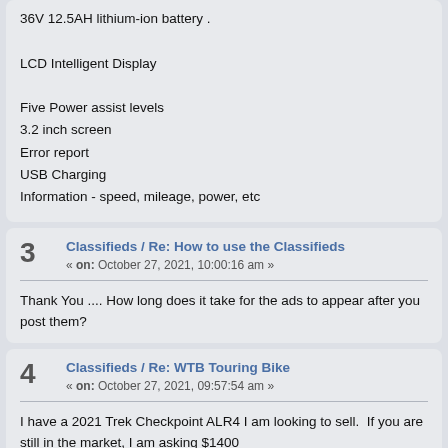36V 12.5AH lithium-ion battery .
LCD Intelligent Display
Five Power assist levels
3.2 inch screen
Error report
USB Charging
Information - speed, mileage, power, etc
3  Classifieds / Re: How to use the Classifieds
« on: October 27, 2021, 10:00:16 am »
Thank You .... How long does it take for the ads to appear after you post them?
4  Classifieds / Re: WTB Touring Bike
« on: October 27, 2021, 09:57:54 am »
I have a 2021 Trek Checkpoint ALR4 I am looking to sell.  If you are still in the market, I am asking $1400